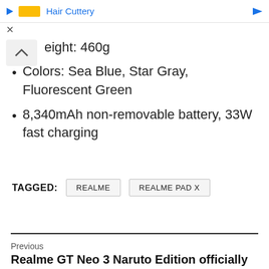Hair Cuttery (advertisement banner)
eight: 460g
Colors: Sea Blue, Star Gray, Fluorescent Green
8,340mAh non-removable battery, 33W fast charging
TAGGED:  REALME  REALME PAD X
Previous
Realme GT Neo 3 Naruto Edition officially launched